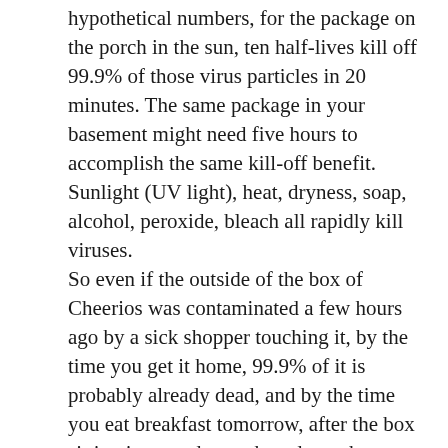hypothetical numbers, for the package on the porch in the sun, ten half-lives kill off 99.9% of those virus particles in 20 minutes. The same package in your basement might need five hours to accomplish the same kill-off benefit. Sunlight (UV light), heat, dryness, soap, alcohol, peroxide, bleach all rapidly kill viruses. So even if the outside of the box of Cheerios was contaminated a few hours ago by a sick shopper touching it, by the time you get it home, 99.9% of it is probably already dead, and by the time you eat breakfast tomorrow, after the box sitting in your dry cupboard, another 99.9% of it is likely dead. Please don't get sucked into breathless worry because the scientist who (correctly) shows that